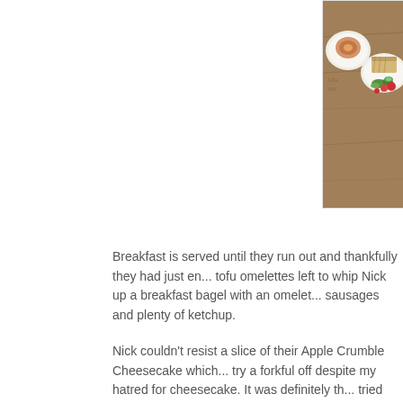[Figure (photo): Top-down view of food on wooden table: bagel/soup on a plate and a sandwich with salad (tomatoes, cucumber, greens) on a white plate]
Breakfast is served until they run out and thankfully they had just en... tofu omelettes left to whip Nick up a breakfast bagel with an omelet... sausages and plenty of ketchup.
Nick couldn't resist a slice of their Apple Crumble Cheesecake which... try a forkful off despite my hatred for cheesecake. It was definitely th... tried but as a cheesecake hater you can't trust my opinion! Nick sai... pretty excellent compliment.
[Figure (photo): Close-up of Apple Crumble Cheesecake slice on white plate with whipped cream, on a wooden table]